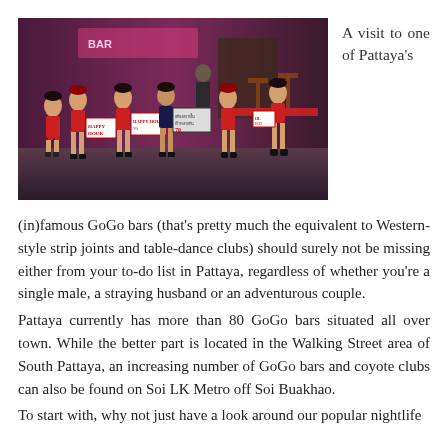[Figure (photo): Group of young women in red uniforms holding promotional signs outside a GoGo bar in Pattaya at night, with neon lights in the background.]
A visit to one of Pattaya's
(in)famous GoGo bars (that's pretty much the equivalent to Western-style strip joints and table-dance clubs) should surely not be missing either from your to-do list in Pattaya, regardless of whether you're a single male, a straying husband or an adventurous couple.
Pattaya currently has more than 80 GoGo bars situated all over town. While the better part is located in the Walking Street area of South Pattaya, an increasing number of GoGo bars and coyote clubs can also be found on Soi LK Metro off Soi Buakhao.
To start with, why not just have a look around our popular nightlife